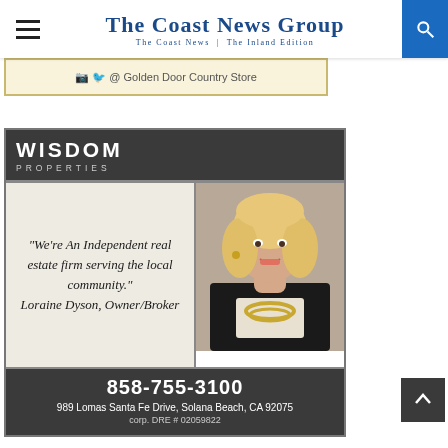The Coast News Group — The Coast News | The Inland Edition
[Figure (other): Partial view of Golden Door Country Store advertisement banner]
[Figure (other): Wisdom Properties real estate advertisement featuring Loraine Dyson, Owner/Broker. Quote: We're An Independent real estate firm serving the local community. Phone: 858-755-3100, Address: 989 Lomas Santa Fe Drive, Solana Beach, CA 92075, corp. DRE # 02059822]